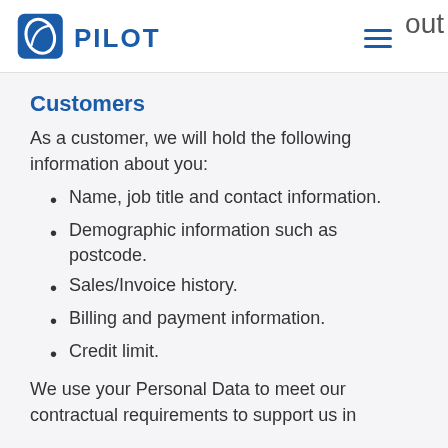PILOT [logo] [hamburger menu] out
Customers
As a customer, we will hold the following information about you:
Name, job title and contact information.
Demographic information such as postcode.
Sales/Invoice history.
Billing and payment information.
Credit limit.
We use your Personal Data to meet our contractual requirements to support us in